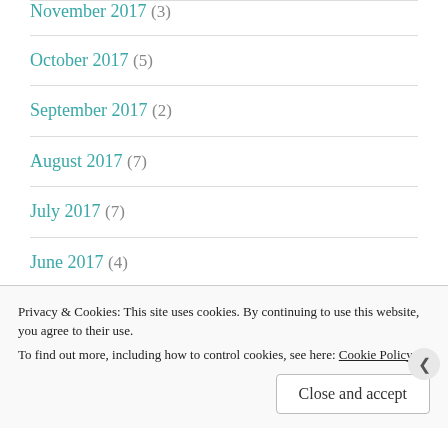November 2017 (3)
October 2017 (5)
September 2017 (2)
August 2017 (7)
July 2017 (7)
June 2017 (4)
May 2017 (3)
April 2017 (5)
Privacy & Cookies: This site uses cookies. By continuing to use this website, you agree to their use. To find out more, including how to control cookies, see here: Cookie Policy
Close and accept